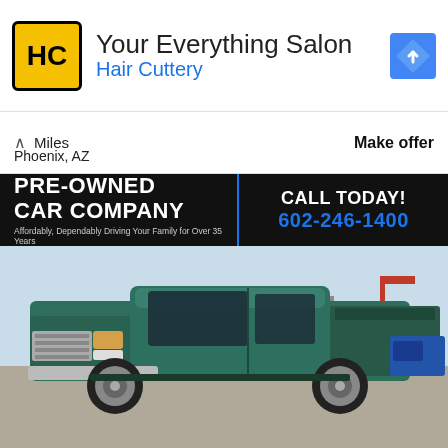[Figure (logo): Hair Cuttery advertisement banner with HC logo in yellow, text 'Your Everything Salon' and 'Hair Cuttery' in blue, navigation arrow icon on right]
Miles   Make offer
Phoenix, AZ
[Figure (photo): Pre-Owned Car Company dealership banner with black background, white bold text 'PRE-OWNED CAR COMPANY', tagline 'Affordably, Dependably Driving Your Family for Over 35 Years', blue text 'CALL TODAY! 602-246-1400']
[Figure (photo): Green extended cab pickup truck (Chevrolet C/K style) parked on lot, photographed from front-left angle against desert sky background]